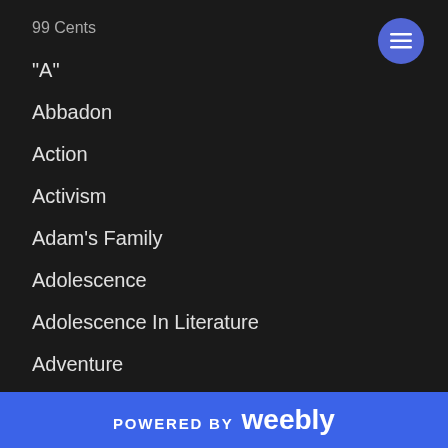99 Cents
"A"
Abbadon
Action
Activism
Adam's Family
Adolescence
Adolescence In Literature
Adventure
Afterlife
Anne Rice
POWERED BY weebly